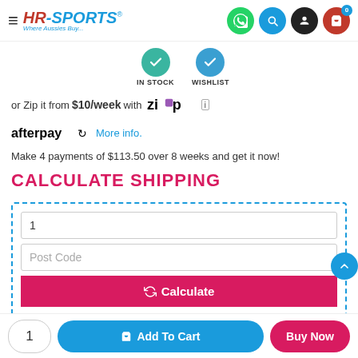[Figure (screenshot): HR-Sports website header with logo, hamburger menu, and icons for WhatsApp, search, account, and cart]
[Figure (infographic): IN STOCK and WISHLIST icons with teal and blue circular checkmarks/heart icons]
or Zip it from $10/week with Zip logo
afterpay More info.
Make 4 payments of $113.50 over 8 weeks and get it now!
CALCULATE SHIPPING
Shipping calculator with quantity field (1), Post Code field, and Calculate button
1  Add To Cart  Buy Now